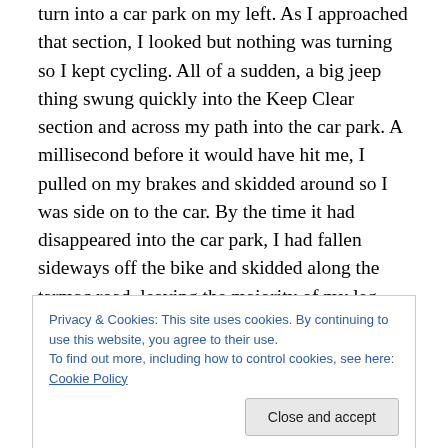turn into a car park on my left. As I approached that section, I looked but nothing was turning so I kept cycling. All of a sudden, a big jeep thing swung quickly into the Keep Clear section and across my path into the car park. A millisecond before it would have hit me, I pulled on my brakes and skidded around so I was side on to the car. By the time it had disappeared into the car park, I had fallen sideways off the bike and skidded along the tarmac road, leaving the majority of my leg skin there. As this fall was post-cleats, the sudden pull of my body off the bike had been too fast for the shoes. I stood up, in my socks, and
Privacy & Cookies: This site uses cookies. By continuing to use this website, you agree to their use.
To find out more, including how to control cookies, see here: Cookie Policy
my head in the driver's door.